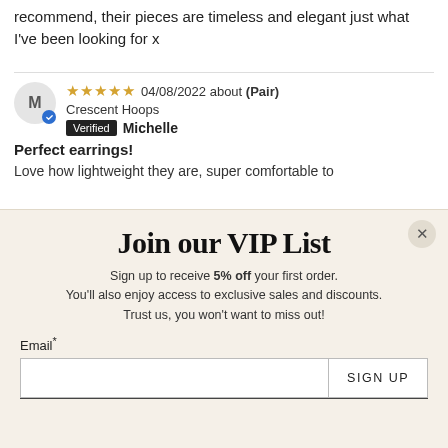recommend, their pieces are timeless and elegant just what I've been looking for x
04/08/2022 about (Pair) Crescent Hoops — Verified — Michelle
Perfect earrings!
Love how lightweight they are, super comfortable to
Join our VIP List
Sign up to receive 5% off your first order.
You'll also enjoy access to exclusive sales and discounts.
Trust us, you won't want to miss out!
Email*
SIGN UP